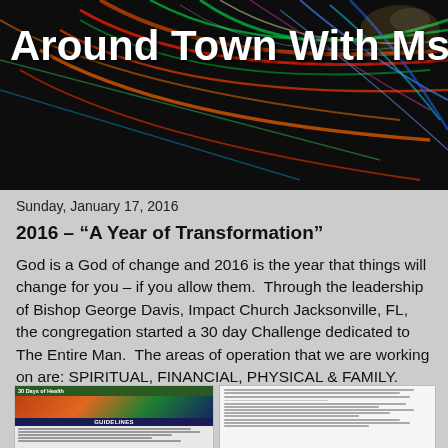[Figure (photo): Dark background with colorful light streaks (red, green, blue, orange) radiating outward, header image for blog 'Around Town With Ms. V']
Around Town With Ms. "V"
Sunday, January 17, 2016
2016 – “A Year of Transformation”
God is a God of change and 2016 is the year that things will change for you – if you allow them.  Through the leadership of Bishop George Davis, Impact Church Jacksonville, FL, the congregation started a 30 day Challenge dedicated to The Entire Man.  The areas of operation that we are working on are: SPIRITUAL, FINANCIAL, PHYSICAL & FAMILY.
[Figure (screenshot): Two document pages shown at bottom of the image: left shows '30 Days of Health' document with GUIDELINES header and butterfly image; right shows a text document with listed items.]